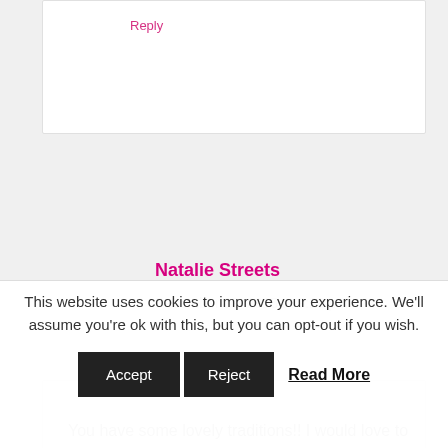Reply
Natalie Streets
December 19, 2015 at 9:29 pm
You have some lovely traditions!! I would love to go to the kids service at a local church but we are always just way too busy to do anything like that. We spend Christmas with extended family so it's
This website uses cookies to improve your experience. We'll assume you're ok with this, but you can opt-out if you wish. Accept Reject Read More